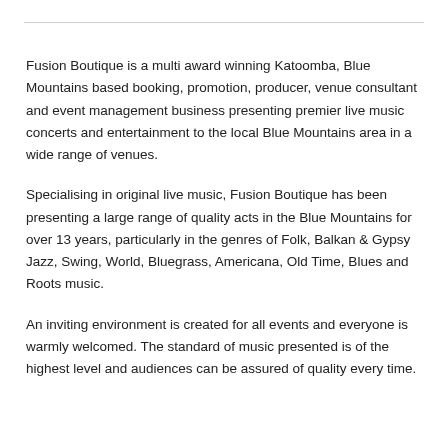Fusion Boutique is a multi award winning Katoomba, Blue Mountains based booking, promotion, producer, venue consultant and event management business presenting premier live music concerts and entertainment to the local Blue Mountains area in a wide range of venues.
Specialising in original live music, Fusion Boutique has been presenting a large range of quality acts in the Blue Mountains for over 13 years, particularly in the genres of Folk, Balkan & Gypsy Jazz, Swing, World, Bluegrass, Americana, Old Time, Blues and Roots music.
An inviting environment is created for all events and everyone is warmly welcomed. The standard of music presented is of the highest level and audiences can be assured of quality every time.